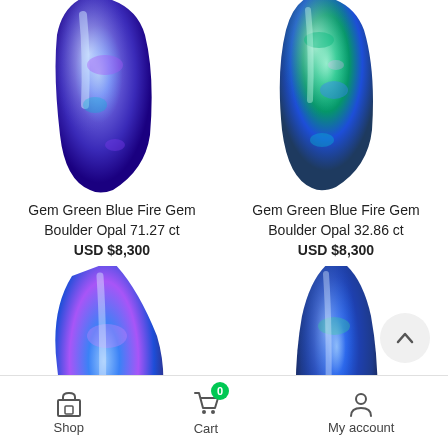[Figure (photo): Blue/purple fire opal gemstone elongated shape, upper portion cut off at top]
[Figure (photo): Green/blue fire opal gemstone elongated shape, upper portion cut off at top]
Gem Green Blue Fire Gem Boulder Opal 71.27 ct
USD $8,300
Gem Green Blue Fire Gem Boulder Opal 32.86 ct
USD $8,300
[Figure (photo): Blue/purple fire opal gemstone kite/irregular shape, lower portion cropped]
[Figure (photo): Deep blue fire opal gemstone elongated teardrop shape, lower portion cropped]
Shop  Cart  My account